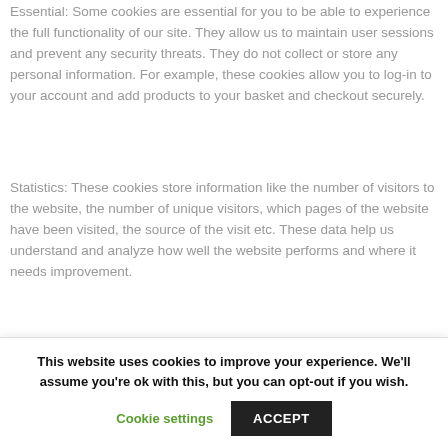Essential: Some cookies are essential for you to be able to experience the full functionality of our site. They allow us to maintain user sessions and prevent any security threats. They do not collect or store any personal information. For example, these cookies allow you to log-in to your account and add products to your basket and checkout securely.
Statistics: These cookies store information like the number of visitors to the website, the number of unique visitors, which pages of the website have been visited, the source of the visit etc. These data help us understand and analyze how well the website performs and where it needs improvement.
Marketing: Cookies that display advertisements that are...
This website uses cookies to improve your experience. We'll assume you're ok with this, but you can opt-out if you wish.